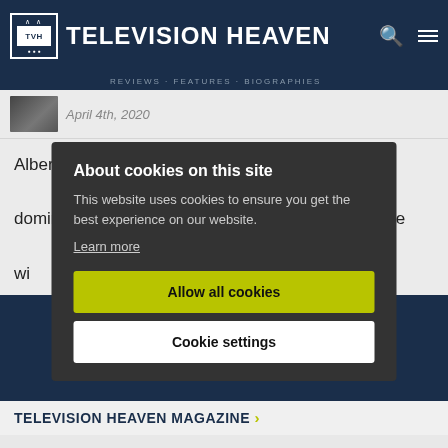TELEVISION HEAVEN
April 4th, 2020
Albert Stokes finds himself perpetually fighting the dominance of women, not least of all his possessive wi
About cookies on this site
This website uses cookies to ensure you get the best experience on our website.
Learn more
Allow all cookies
Cookie settings
TELEVISION HEAVEN MAGAZINE >